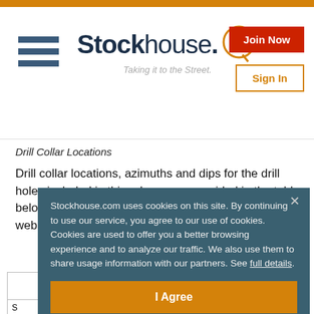[Figure (logo): Stockhouse logo with hamburger menu, Join Now and Sign In buttons]
Drill Collar Locations
Drill collar locations, azimuths and dips for the drill holes included in this release are provided in the table below and have been posted to the Company's website for all drill holes:
| Drill Collar Locations |
| --- |
Stockhouse.com uses cookies on this site. By continuing to use our service, you agree to our use of cookies. Cookies are used to offer you a better browsing experience and to analyze our traffic. We also use them to share usage information with our partners. See full details.